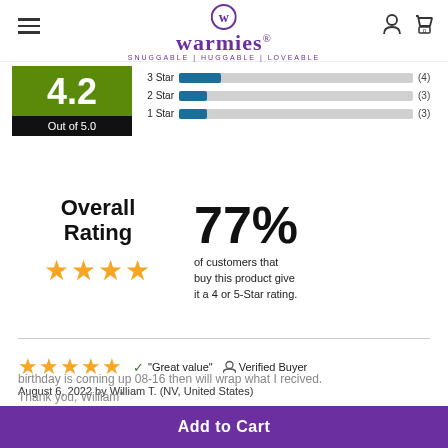warmies® SNUGGABLE | HUGGABLE | LOVEABLE
[Figure (bar-chart): Star rating distribution]
4.2 Out of 5.0
Overall Rating
77% of customers that buy this product give it a 4 or 5-Star rating.
August 6, 2022 by William T. (NV, United States)
"Hello, I haven't opened my package as yet. My wife birthday is coming up 08-16 then will wrap what I recived. Thank you, William"
Add to Cart